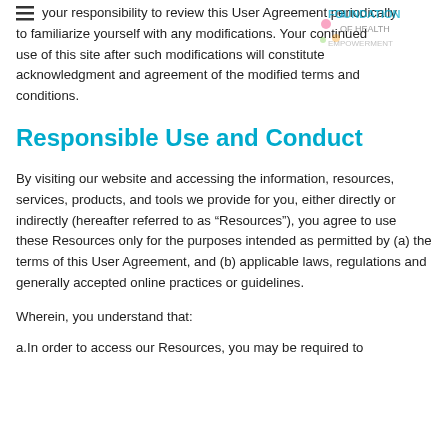your responsibility to review this User Agreement periodically to familiarize yourself with any modifications. Your continued use of this site after such modifications will constitute acknowledgment and agreement of the modified terms and conditions.
Responsible Use and Conduct
By visiting our website and accessing the information, resources, services, products, and tools we provide for you, either directly or indirectly (hereafter referred to as “Resources”), you agree to use these Resources only for the purposes intended as permitted by (a) the terms of this User Agreement, and (b) applicable laws, regulations and generally accepted online practices or guidelines.
Wherein, you understand that:
a.In order to access our Resources, you may be required to